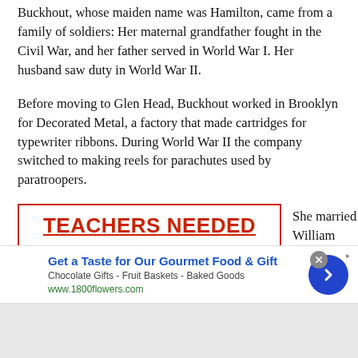Buckhout, whose maiden name was Hamilton, came from a family of soldiers: Her maternal grandfather fought in the Civil War, and her father served in World War I. Her husband saw duty in World War II.
Before moving to Glen Head, Buckhout worked in Brooklyn for Decorated Metal, a factory that made cartridges for typewriter ribbons. During World War II the company switched to making reels for parachutes used by paratroopers.
[Figure (infographic): Advertisement box with red border reading TEACHERS NEEDED - South Shore Preschool In North Bellmore Is Seeking Experienced]
She married William
[Figure (infographic): Bottom advertisement banner: Get a Taste for Our Gourmet Food & Gift - Chocolate Gifts - Fruit Baskets - Baked Goods - www.1800flowers.com]